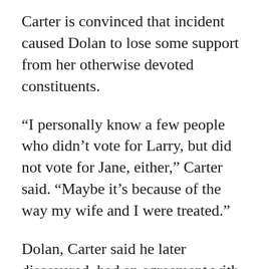Carter is convinced that incident caused Dolan to lose some support from her otherwise devoted constituents.
“I personally know a few people who didn’t vote for Larry, but did not vote for Jane, either,” Carter said. “Maybe it’s because of the way my wife and I were treated.”
Dolan, Carter said he later discovered, had an agreement with the city that said she would be notified of any